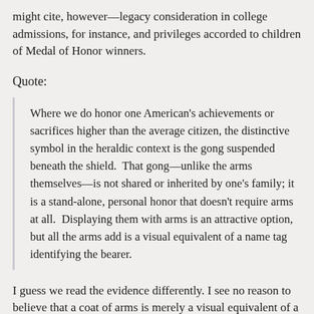might cite, however—legacy consideration in college admissions, for instance, and privileges accorded to children of Medal of Honor winners.
Quote:
Where we do honor one American's achievements or sacrifices higher than the average citizen, the distinctive symbol in the heraldic context is the gong suspended beneath the shield.  That gong—unlike the arms themselves—is not shared or inherited by one's family; it is a stand-alone, personal honor that doesn't require arms at all.  Displaying them with arms is an attractive option, but all the arms add is a visual equivalent of a name tag identifying the bearer.
I guess we read the evidence differently. I see no reason to believe that a coat of arms is merely a visual equivalent of a surname.